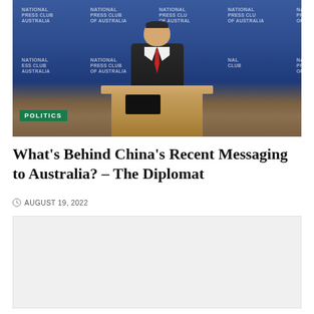[Figure (photo): A man in a dark suit with a red tie standing at a wooden podium at the National Press Club of Australia, with a blue branded backdrop showing 'National Press Club of Australia' repeated multiple times. A green 'POLITICS' tag is overlaid in the lower left of the image.]
What's Behind China's Recent Messaging to Australia? – The Diplomat
AUGUST 19, 2022